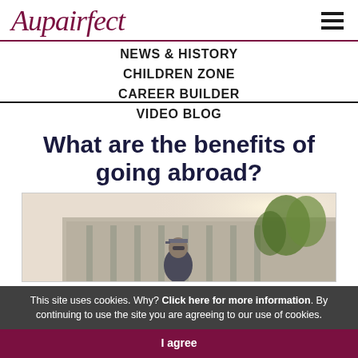Aupairfect
NEWS & HISTORY
CHILDREN ZONE
CAREER BUILDER
VIDEO BLOG
What are the benefits of going abroad?
[Figure (photo): Person wearing a cap standing in front of a grand classical building with trees and sunlight in the background]
This site uses cookies. Why? Click here for more information. By continuing to use the site you are agreeing to our use of cookies.
I agree